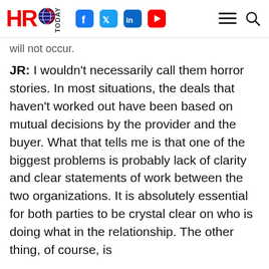HRO TODAY [logo with social icons: Facebook, Twitter, LinkedIn, YouTube, menu, search]
will not occur.
JR: I wouldn't necessarily call them horror stories. In most situations, the deals that haven't worked out have been based on mutual decisions by the provider and the buyer. What that tells me is that one of the biggest problems is probably lack of clarity and clear statements of work between the two organizations. It is absolutely essential for both parties to be crystal clear on who is doing what in the relationship. The other thing, of course, is